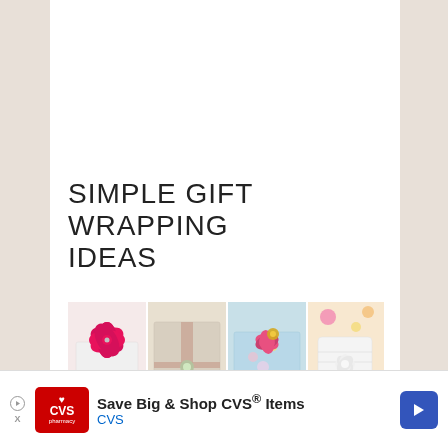SIMPLE GIFT WRAPPING IDEAS
[Figure (photo): Collage of four gift wrapping photos: a white box with a large bright pink flower bow, a champagne/beige wrapped gift with satin ribbon and jewel, a colorful wrapped gift with pink floral decoration, and a white knit bag with white flower and gold bells.]
Save Big & Shop CVS® Items
CVS